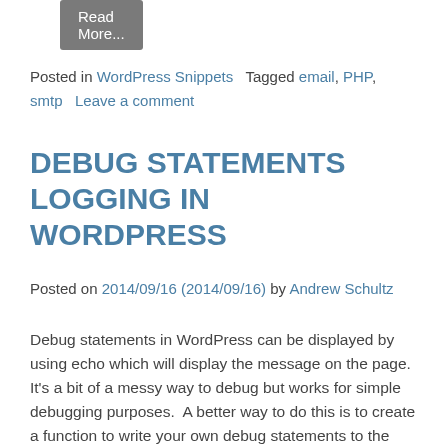[Figure (other): Read More button (grey rounded rectangle) at top of page]
Posted in WordPress Snippets  Tagged email, PHP, smtp  Leave a comment
DEBUG STATEMENTS LOGGING IN WORDPRESS
Posted on 2014/09/16 (2014/09/16) by Andrew Schultz
Debug statements in WordPress can be displayed by using echo which will display the message on the page. It's a bit of a messy way to debug but works for simple debugging purposes.  A better way to do this is to create a function to write your own debug statements to the debug.log file. Debug [...]